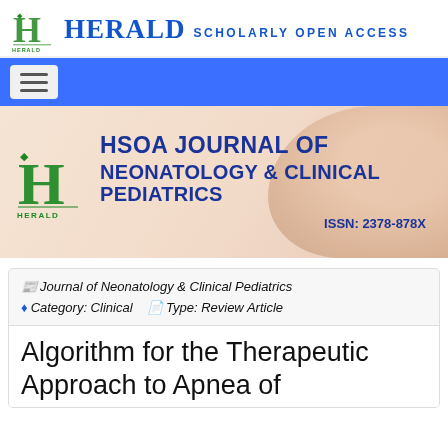HERALD SCHOLARLY OPEN ACCESS
[Figure (logo): Herald Scholarly Open Access logo with 'H' icon and text]
[Figure (illustration): HSOA Journal of Neonatology & Clinical Pediatrics banner with logo and ISSN 2378-878X]
Journal of Neonatology & Clinical Pediatrics   Category: Clinical   Type: Review Article
Algorithm for the Therapeutic Approach to Apnea of Prematurity